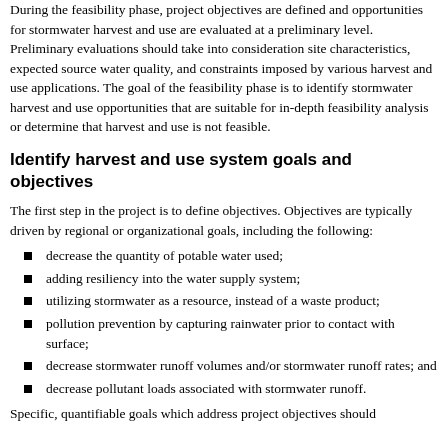During the feasibility phase, project objectives are defined and opportunities for stormwater harvest and use are evaluated at a preliminary level. Preliminary evaluations should take into consideration site characteristics, expected source water quality, and constraints imposed by various harvest and use applications. The goal of the feasibility phase is to identify stormwater harvest and use opportunities that are suitable for in-depth feasibility analysis or determine that harvest and use is not feasible.
Identify harvest and use system goals and objectives
The first step in the project is to define objectives. Objectives are typically driven by regional or organizational goals, including the following:
decrease the quantity of potable water used;
adding resiliency into the water supply system;
utilizing stormwater as a resource, instead of a waste product;
pollution prevention by capturing rainwater prior to contact with surface;
decrease stormwater runoff volumes and/or stormwater runoff rates; and
decrease pollutant loads associated with stormwater runoff.
Specific, quantifiable goals which address project objectives should